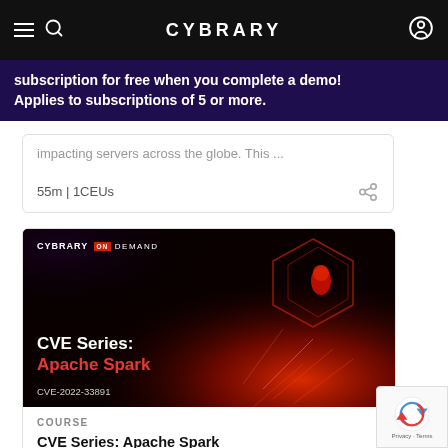CYBRARY
subscription for free when you complete a demo! Applies to subscriptions of 5 or more.
impacting servers across the globe. This ...
55m | 1CEUs
[Figure (screenshot): Cybrary On Demand course thumbnail for CVE Series: Apache Spark (CVE-2022-33891), dark red background with glowing spark visual and shield icon]
COURSE
CVE Series: Apache Spark (CVE-2022-33891)